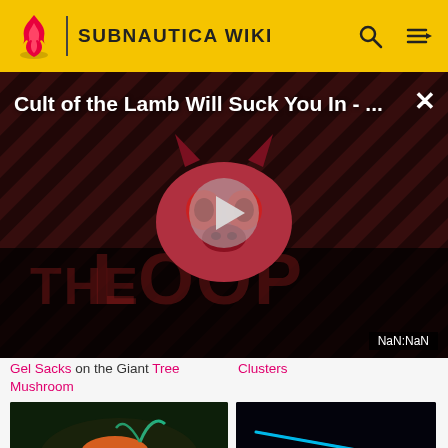SUBNAUTICA WIKI
[Figure (screenshot): Video overlay: 'Cult of the Lamb Will Suck You In - ...' with play button and THE LOOP branding, NaN:NaN timestamp, close button]
Tree Mushroom with Orbs Clusters
Gel Sacks on the Giant Tree Mushroom
[Figure (photo): Subnautica scene: colorful mushroom-like organisms with orange and teal coloring in an underwater environment]
[Figure (photo): Subnautica dark underwater scene with cyan/pink bioluminescent creatures]